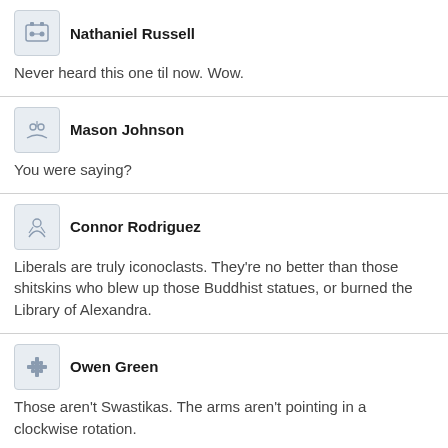Nathaniel Russell
Never heard this one til now. Wow.
Mason Johnson
You were saying?
Connor Rodriguez
Liberals are truly iconoclasts. They're no better than those shitskins who blew up those Buddhist statues, or burned the Library of Alexandra.
Owen Green
Those aren't Swastikas. The arms aren't pointing in a clockwise rotation.